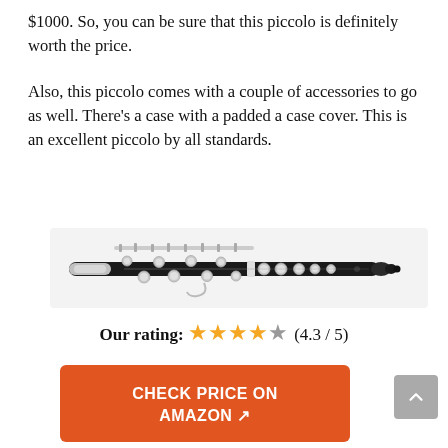$1000. So, you can be sure that this piccolo is definitely worth the price.
Also, this piccolo comes with a couple of accessories to go as well. There’s a case with a padded a case cover. This is an excellent piccolo by all standards.
[Figure (photo): A black piccolo instrument with silver keys and mechanism, shown horizontally on a light grey background.]
Our rating: ★★★★☆ (4.3 / 5)
CHECK PRICE ON AMAZON ↗